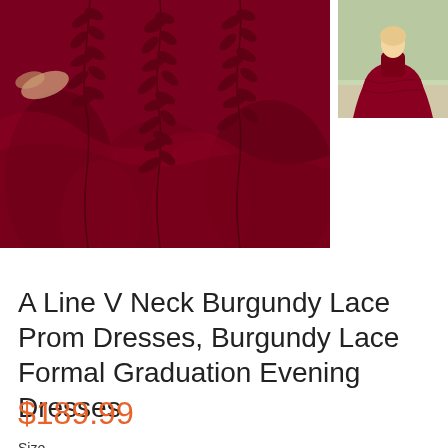[Figure (photo): Main product photo of a burgundy lace ball gown prom dress, close-up showing floral lace appliqués on a full skirt. Rich dark red fabric with intricate leaf and floral lace embellishments cascading down the skirt.]
[Figure (photo): Thumbnail product photo of a model wearing the burgundy A-line lace prom dress, full-length view showing the v-neck bodice and flowing skirt.]
A Line V Neck Burgundy Lace Prom Dresses, Burgundy Lace Formal Graduation Evening Dresses
$189.99
Size